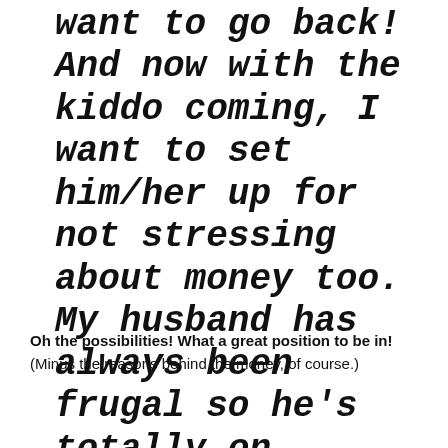want to go back! And now with the kiddo coming, I want to set him/her up for not stressing about money too. My husband has always been frugal so he's totally on board.
Oh the possibilities! What a great position to be in! (Minus the reasons behind the money, of course.)